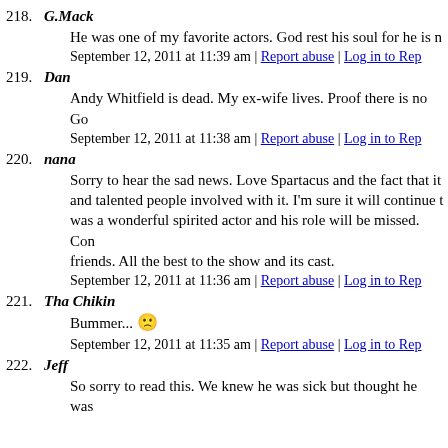218. G.Mack
He was one of my favorite actors. God rest his soul for he is n...
September 12, 2011 at 11:39 am | Report abuse | Log in to Rep...
219. Dan
Andy Whitfield is dead. My ex-wife lives. Proof there is no Go...
September 12, 2011 at 11:38 am | Report abuse | Log in to Rep...
220. nana
Sorry to hear the sad news. Love Spartacus and the fact that it and talented people involved with it. I'm sure it will continue t was a wonderful spirited actor and his role will be missed. Con friends. All the best to the show and its cast.
September 12, 2011 at 11:36 am | Report abuse | Log in to Rep...
221. Tha Chikin
Bummer... 🙁
September 12, 2011 at 11:35 am | Report abuse | Log in to Rep...
222. Jeff
So sorry to read this. We knew he was sick but thought he was...